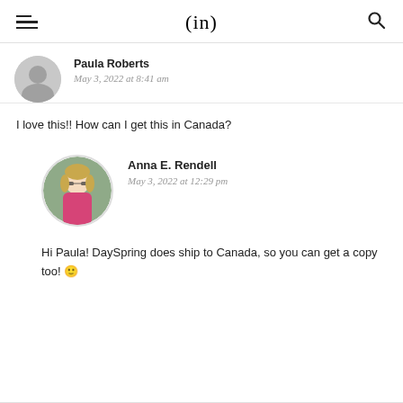(in)
Paula Roberts
May 3, 2022 at 8:41 am
I love this!! How can I get this in Canada?
Anna E. Rendell
May 3, 2022 at 12:29 pm
Hi Paula! DaySpring does ship to Canada, so you can get a copy too! 🙂